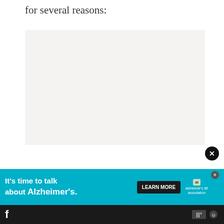for several reasons:
[Figure (other): Light pinkish-gray blank image placeholder area]
Don't miss each new article!
Email Address *
[Figure (infographic): Advertisement banner: It's time to talk about Alzheimer's. LEARN MORE button. alzheimer's association logo. Close button.]